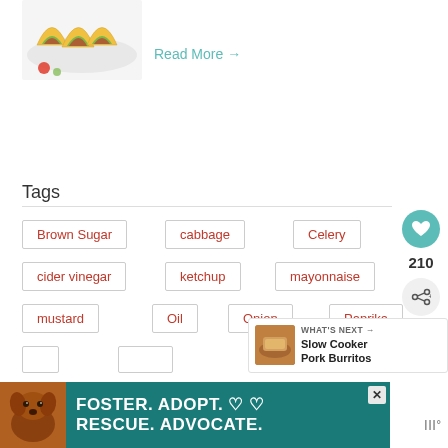[Figure (photo): Photo of tacos on a white plate, top portion visible at top-left corner of page]
Read More →
Tags
Brown Sugar
cabbage
Celery
cider vinegar
ketchup
mayonnaise
mustard
Oil
Onion
Paprika
210
WHAT'S NEXT → Slow Cooker Pork Burritos
[Figure (photo): Small thumbnail of Slow Cooker Pork Burritos dish]
[Figure (photo): Advertisement banner: Foster. Adopt. Rescue. Advocate. with dog photo, teal background]